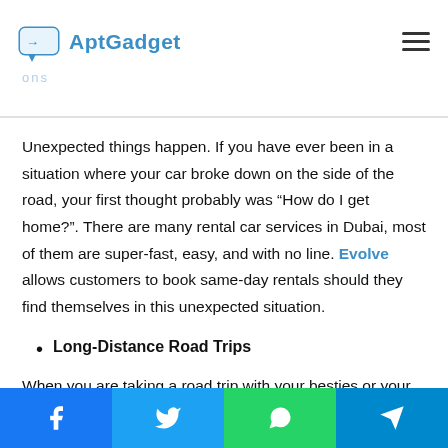AptGadget
Unexpected things happen. If you have ever been in a situation where your car broke down on the side of the road, your first thought probably was “How do I get home?”. There are many rental car services in Dubai, most of them are super-fast, easy, and with no line. Evolve allows customers to book same-day rentals should they find themselves in this unexpected situation.
Long-Distance Road Trips
When you are taking a road trip with your besties or your family, hiring a vehicle makes sense. Renting a convenient minivan for road trips can not only give you the necessary
Facebook | Twitter | WhatsApp | Telegram